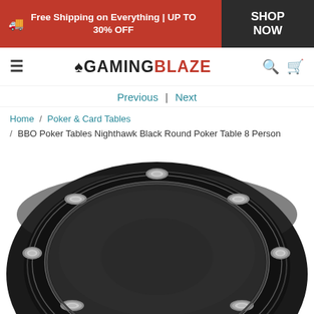Free Shipping on Everything | UP TO 30% OFF  SHOP NOW
[Figure (logo): GamingBlaze logo with spade icon]
Previous | Next
Home / Poker & Card Tables / BBO Poker Tables Nighthawk Black Round Poker Table 8 Person
[Figure (photo): Top-down view of a round black poker table with silver cup holders along the rail, dark playing surface, and padded black bumper edge]